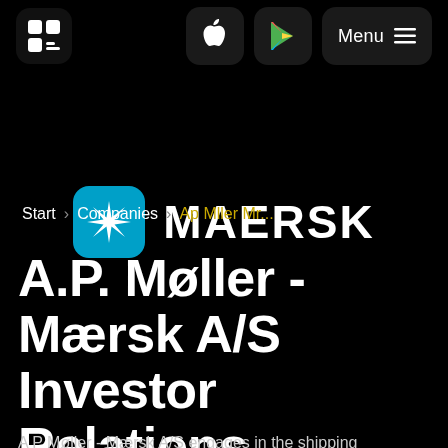[Figure (logo): Navigation bar with app logo (stylized Q/chat icon), Apple App Store icon, Google Play icon, and Menu button with hamburger icon on black background]
[Figure (logo): Maersk logo: teal rounded square with white eight-pointed star, followed by white bold text MAERSK]
Start   Companies   Ap Mller Mr...
A.P. Møller - Mærsk A/S Investor Relations Material
A P Møller - Mærsk A/S engages in the shipping